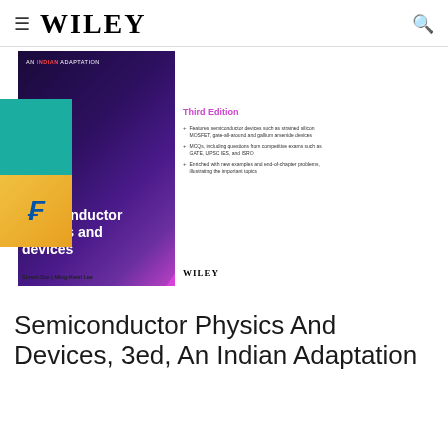≡ WILEY
[Figure (photo): Wiley book cover for 'Semiconductor Physics and Devices, 3ed, An Indian Adaptation' by Simon Sze and Ming-Kwei Lee. The cover features a purple/pink PCB circuit board background with pink wave design. Shows 'Third Edition' label and bullet points listing features. A Flipkart shopping badge overlays the bottom-left corner.]
Semiconductor Physics And Devices, 3ed, An Indian Adaptation